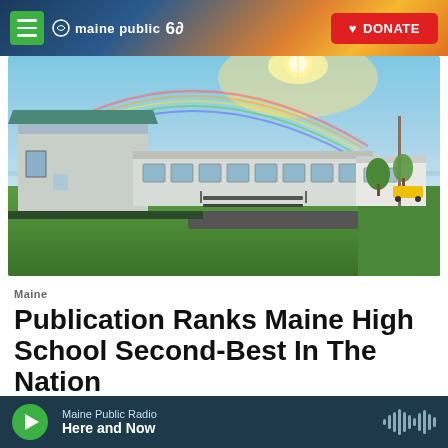maine public 60 | DONATE
[Figure (photo): Exterior photo of a school building with a rainbow in the sky, green lawn, and portable classroom trailers. Taken at golden hour.]
Maine
Publication Ranks Maine High School Second-Best In The Nation
Robbie Feinberg · May 1, 2019
Maine Public Radio — Here and Now